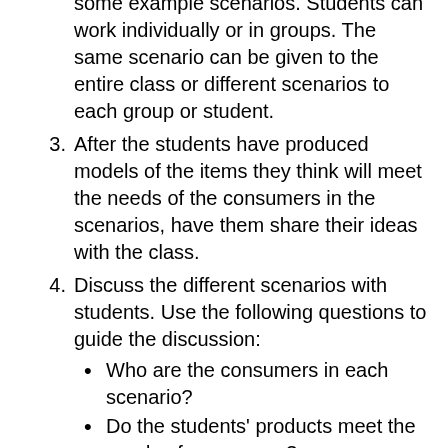(continued) some example scenarios. Students can work individually or in groups. The same scenario can be given to the entire class or different scenarios to each group or student.
3. After the students have produced models of the items they think will meet the needs of the consumers in the scenarios, have them share their ideas with the class.
4. Discuss the different scenarios with students. Use the following questions to guide the discussion:
Who are the consumers in each scenario?
Do the students' products meet the needs of consumers?
Will the products help agriculturists (farmers) in their community?